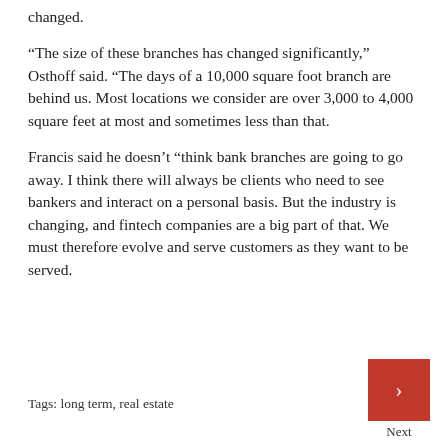changed.
“The size of these branches has changed significantly,” Osthoff said. “The days of a 10,000 square foot branch are behind us. Most locations we consider are over 3,000 to 4,000 square feet at most and sometimes less than that.
Francis said he doesn’t “think bank branches are going to go away. I think there will always be clients who need to see bankers and interact on a personal basis. But the industry is changing, and fintech companies are a big part of that. We must therefore evolve and serve customers as they want to be served.
Tags: long term, real estate